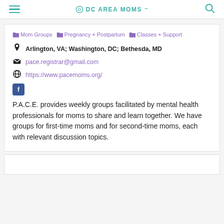DC AREA MOMS
Mom Groups  Pregnancy + Postpartum  Classes + Support
Arlington, VA; Washington, DC; Bethesda, MD
pace.registrar@gmail.com
https://www.pacemoms.org/
P.A.C.E. provides weekly groups facilitated by mental health professionals for moms to share and learn together. We have groups for first-time moms and for second-time moms, each with relevant discussion topics.